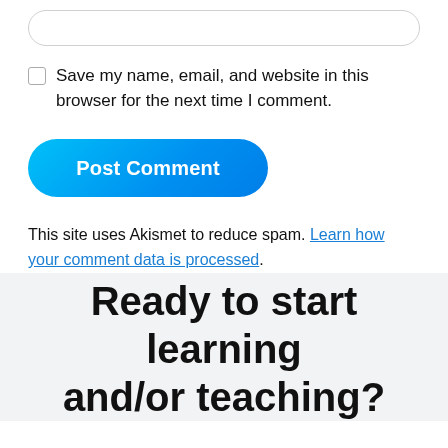[Figure (other): Rounded input bar at top of page]
Save my name, email, and website in this browser for the next time I comment.
[Figure (other): Post Comment button — blue rounded rectangle]
This site uses Akismet to reduce spam. Learn how your comment data is processed.
Ready to start learning and/or teaching?